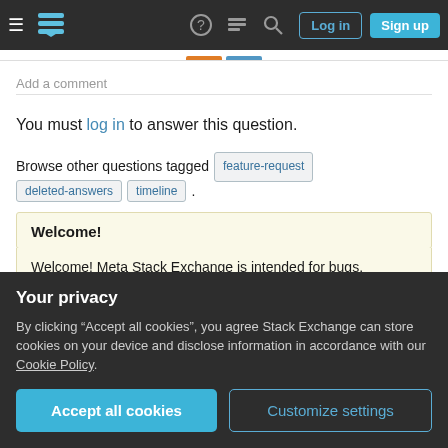Meta Stack Exchange navigation bar with hamburger menu, logo, help, chat, search icons, Log in and Sign up buttons
Add a comment
You must log in to answer this question.
Browse other questions tagged feature-request deleted-answers timeline .
Welcome!
Welcome! Meta Stack Exchange is intended for bugs, features,
Your privacy
By clicking “Accept all cookies”, you agree Stack Exchange can store cookies on your device and disclose information in accordance with our Cookie Policy.
Accept all cookies
Customize settings
Featured